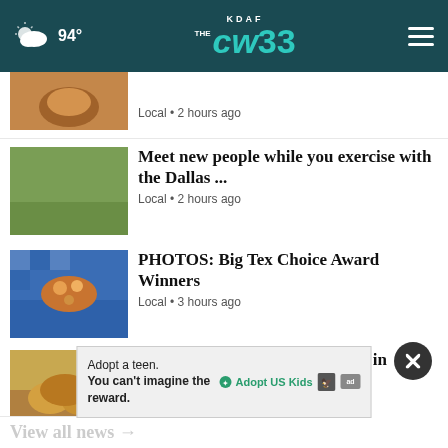KDAF CW33 — 94° weather — hamburger menu
[Figure (screenshot): Thumbnail image of drink, partial, clipped at top]
Local • 2 hours ago
Meet new people while you exercise with the Dallas ... — Local • 2 hours ago
PHOTOS: Big Tex Choice Award Winners — Local • 3 hours ago
The best places to get chop suey in Dallas, according ... — Local • 4 hours ago
Pumpkin Spice Twinkies? Hostess unveils fall, Halloween ... — News • 4 hours ago
[Figure (infographic): Ad banner: Adopt a teen. You can't imagine the reward. — Adopt US Kids logo, HHS icon, ad badge]
View all news →